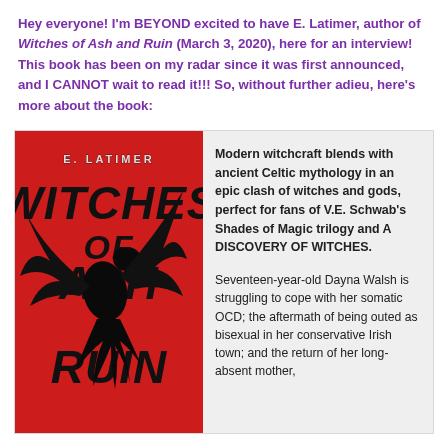Hey everyone! I'm BEYOND excited to have E. Latimer, author of Witches of Ash and Ruin (March 3, 2020), here for an interview! This book has been on my radar since it was first announced, and I CANNOT wait to read it!!! So, without further adieu, here's more about the book:
[Figure (illustration): Book cover of 'Witches of Ash and Ruin' by E. Latimer. Red background with a large black raven/crow with wings spread. Title text in bold distressed letters.]
Modern witchcraft blends with ancient Celtic mythology in an epic clash of witches and gods, perfect for fans of V.E. Schwab's Shades of Magic trilogy and A DISCOVERY OF WITCHES.
Seventeen-year-old Dayna Walsh is struggling to cope with her somatic OCD; the aftermath of being outed as bisexual in her conservative Irish town; and the return of her long-absent mother,